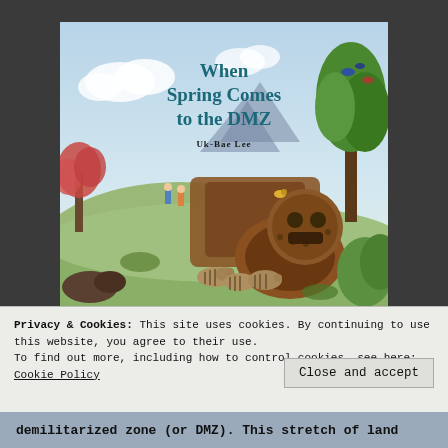[Figure (illustration): Book cover illustration of 'When Spring Comes to the DMZ' by Uk-Bae Lee. Shows a colorful illustrated scene with wildlife — wild boar piglets, birds, and other animals — around rusted military machinery in a green landscape with mountains in the background. Title text in teal/dark blue reads 'When Spring Comes to the DMZ' and author name 'Uk-Bae Lee' appears below the title.]
Privacy & Cookies: This site uses cookies. By continuing to use this website, you agree to their use.
To find out more, including how to control cookies, see here: Cookie Policy
Close and accept
demilitarized zone (or DMZ). This stretch of land